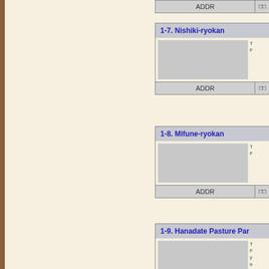[Figure (other): Top partial ADDR row from previous entry]
1-7. Nishiki-ryokan
[Figure (photo): Photo placeholder for Nishiki-ryokan]
ADDR
1-8. Mifune-ryokan
[Figure (photo): Photo placeholder for Mifune-ryokan]
ADDR
1-9. Hanadate Pasture Par
[Figure (photo): Photo placeholder for Hanadate Pasture Park]
T
F
y
h